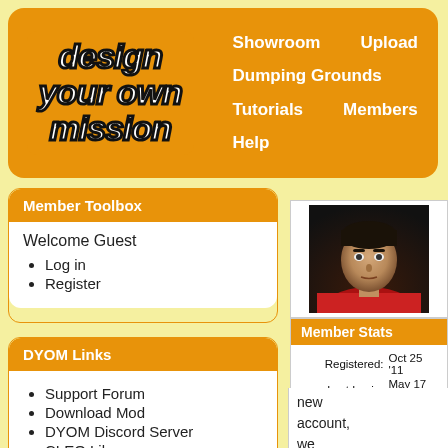[Figure (logo): Design Your Own Mission logo - bold italic white text on orange rounded rectangle background]
Showroom   Upload   Dumping Grounds   Tutorials   Members   Help
Member Toolbox
Welcome Guest
Log in
Register
DYOM Links
Support Forum
Download Mod
DYOM Discord Server
CLEO Library
YouTube Channel
Facebook Profile
[Figure (photo): Avatar/profile photo of a young man with dark hair, serious expression, wearing red clothing, dark background]
Member Stats
| Registered: | Oct 25 '11 |
| Last Login: | May 17 '21 |
| Missions made: | 43 Avg: 4.5 |
| Trailers made: | 0 |
| VideoTuts made: | 0 |
| TextTuts made: | 0 |
| Comments made: | 10 |
| Ratings made: | 1 Avg: 5.0 |
new account, we still had
Site Statistics